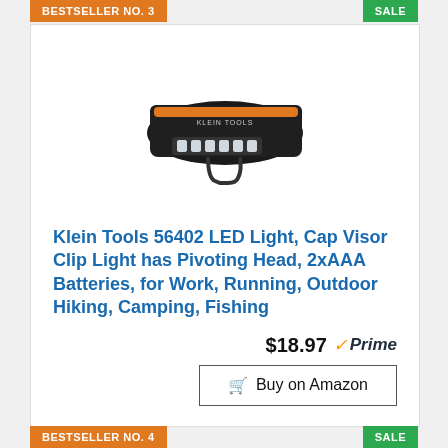BESTSELLER NO. 3
SALE
[Figure (photo): Klein Tools 56402 LED cap visor clip light product photo — black device with orange accent strip and LED lights visible on front]
Klein Tools 56402 LED Light, Cap Visor Clip Light has Pivoting Head, 2xAAA Batteries, for Work, Running, Outdoor Hiking, Camping, Fishing
$18.97 Prime
Buy on Amazon
BESTSELLER NO. 4
SALE